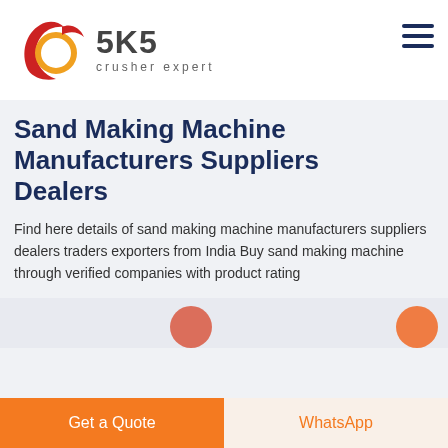SKS crusher expert
Sand Making Machine Manufacturers Suppliers Dealers
Find here details of sand making machine manufacturers suppliers dealers traders exporters from India Buy sand making machine through verified companies with product rating
LIVE CHAT
Get a Quote
WhatsApp